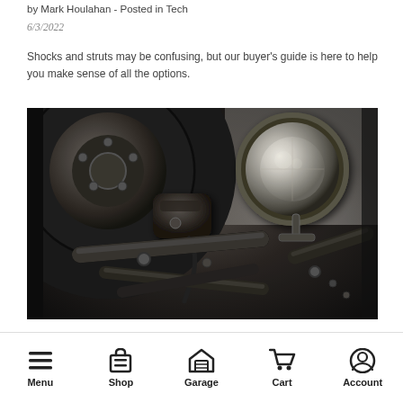by Mark Houlahan - Posted in Tech
6/3/2022
Shocks and struts may be confusing, but our buyer's guide is here to help you make sense of all the options.
[Figure (photo): Close-up photograph of a vintage vehicle's wheel, brake caliper, suspension components, and round headlight. Black and white/sepia automotive detail photo showing tire, brake assembly, struts/bars, and chrome headlamp.]
Menu  Shop  Garage  Cart  Account